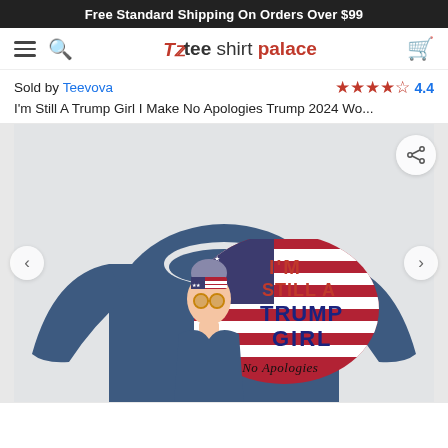Free Standard Shipping On Orders Over $99
[Figure (logo): Tee Shirt Palace navigation bar with hamburger menu, search icon, logo, and cart icon]
Sold by Teevova
4.4 stars rating
I'm Still A Trump Girl I Make No Apologies Trump 2024 Wo...
[Figure (photo): Navy blue women's long-sleeve sweatshirt with patriotic American flag design reading: I'M STILL A TRUMP GIRL I Make No Apologies, featuring illustration of woman with American flag bandana]